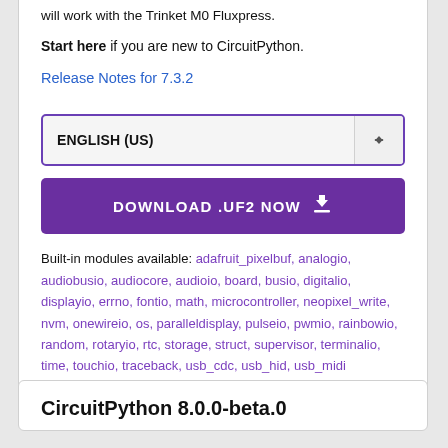will work with the Trinket M0 Fluxpress.
Start here if you are new to CircuitPython.
Release Notes for 7.3.2
ENGLISH (US)
DOWNLOAD .UF2 NOW
Built-in modules available: adafruit_pixelbuf, analogio, audiobusio, audiocore, audioio, board, busio, digitalio, displayio, errno, fontio, math, microcontroller, neopixel_write, nvm, onewireio, os, paralleldisplay, pulseio, pwmio, rainbowio, random, rotaryio, rtc, storage, struct, supervisor, terminalio, time, touchio, traceback, usb_cdc, usb_hid, usb_midi
CircuitPython 8.0.0-beta.0